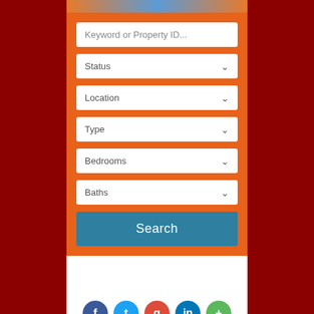[Figure (screenshot): Mobile real estate search UI with orange background form containing fields: Keyword or Property ID, Status dropdown, Location dropdown, Type dropdown, Bedrooms dropdown, Baths dropdown, and a Search button. Below is a white area with social media icons (Facebook, Twitter, Google+, LinkedIn, and a green circle).]